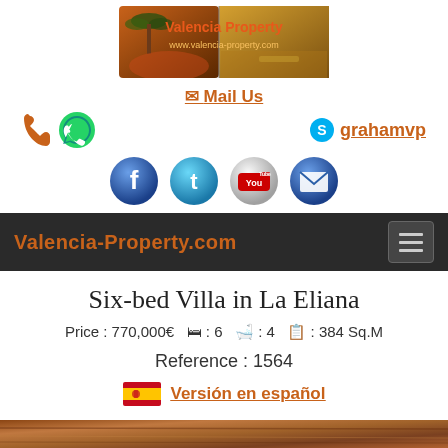[Figure (logo): Valencia Property banner logo with palm tree and road landscape]
✉ Mail Us
[Figure (infographic): Phone icon, WhatsApp icon on left; Skype grahamvp link on right]
[Figure (infographic): Social media buttons: Facebook, Twitter, YouTube, Email]
Valencia-Property.com
Six-bed Villa in La Eliana
Price : 770,000€  🛏 : 6  🛁 : 4  📋 : 384 Sq.M
Reference : 1564
Versión en español
[Figure (photo): Bottom strip of a property interior photo]